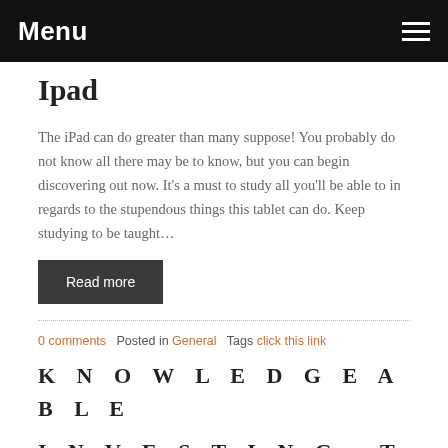Menu
Ipad
The iPad can do greater than many suppose! You probably do not know all there may be to know, but you can begin discovering out now. It's a must to study all you'll be able to in regards to the stupendous things this tablet can do. Keep studying to be taught…
Read more
0 comments   Posted in General   Tags click this link
KNOWLEDGEABLE INVESTING TIPS YOU SHOULD USE RIGHT NOW